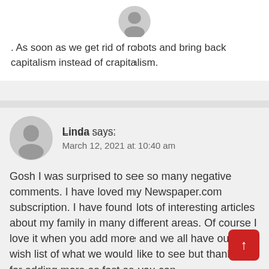. As soon as we get rid of robots and bring back capitalism instead of crapitalism.
Linda says: March 12, 2021 at 10:40 am
Gosh I was surprised to see so many negative comments. I have loved my Newspaper.com subscription. I have found lots of interesting articles about my family in many different areas. Of course I love it when you add more and we all have our own wish list of what we would like to see but thank you for adding more as fast as you can.